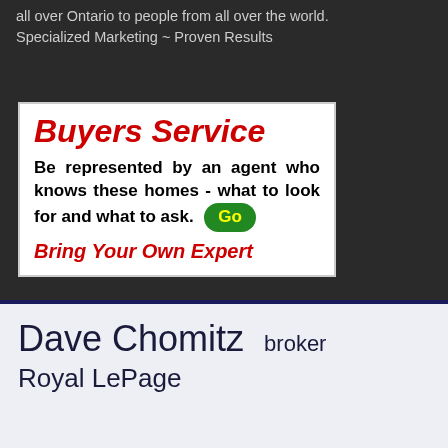all over Ontario to people from all over the world. Specialized Marketing ~ Proven Results
[Figure (infographic): Buyers Service advertisement box: red bold italic title 'Buyers Service', body text 'Be represented by an agent who knows these homes - what to look for and what to ask.' with a green oval Go button, and red italic bold text 'Bring Your Own Expert']
Dave Chomitz  broker
Royal LePage